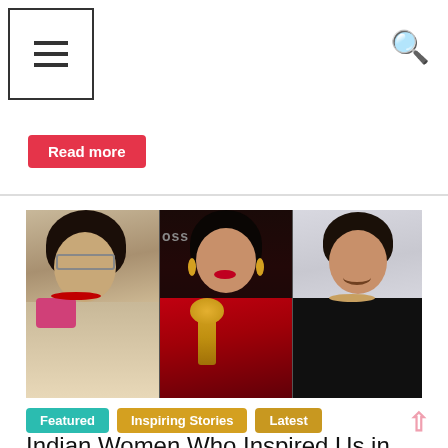Navigation menu icon and search icon
Read more
[Figure (photo): Collage of three women: left - Indian woman in light saree with glasses and bindi, center - Bollywood actress in red sequin saree holding a golden award trophy, right - Indian-American businesswoman in black outfit smiling]
Featured
Inspiring Stories
Latest
Indian Women Who Inspired Us in 2018